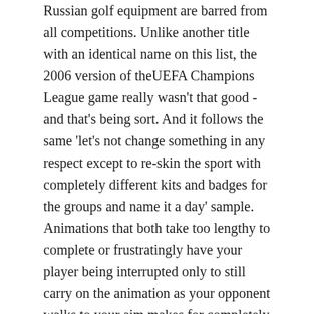Russian golf equipment are barred from all competitions. Unlike another title with an identical name on this list, the 2006 version of theUEFA Champions League game really wasn't that good - and that's being sort. And it follows the same 'let's not change something in any respect except to re-skin the sport with completely different kits and badges for the groups and name it a day' sample. Animations that both take too lengthy to complete or frustratingly have your player being interrupted only to still carry on the animation as your opponent walks to your aim makes for completely unfair and unbalanced matches. Having mentioned that, it was solely the secondStreet game to launch, so the novelty https://foxz89.com/tag/god-slot of nut-megging your friends had not worn off utterly.
In all probability, he will ease past Thierry Henry and Frank Lampard in that chart before the end of the season as a result